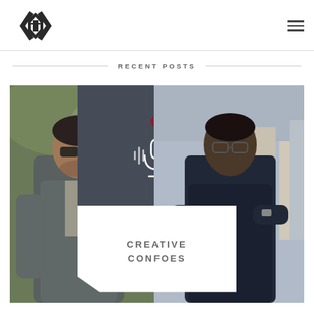[Figure (logo): Geometric diamond/hexagon shaped logo with angular bracket-like shapes on left and right and a 'D' or person shape in center, dark charcoal color]
[Figure (illustration): Hamburger menu icon (three horizontal lines) in top right corner]
RECENT POSTS
[Figure (photo): Composite feature image showing two men (one with sunglasses leaning on a wall on the left, one with glasses and arms crossed on the right), with a dark center panel containing a podcast microphone icon with sound waves and a recording dot, and a white banner with text 'CREATIVE CONFOES']